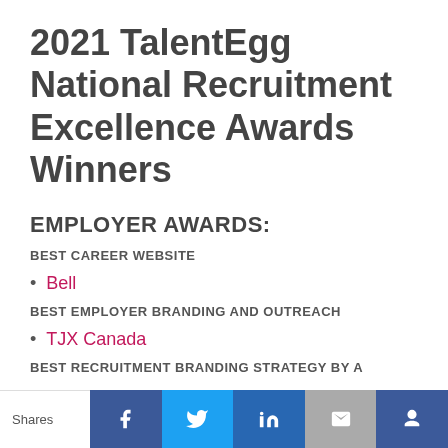2021 TalentEgg National Recruitment Excellence Awards Winners
EMPLOYER AWARDS:
BEST CAREER WEBSITE
Bell
BEST EMPLOYER BRANDING AND OUTREACH
TJX Canada
BEST RECRUITMENT BRANDING STRATEGY BY A
Shares | Facebook | Twitter | LinkedIn | Email | Crown